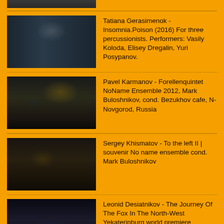[Figure (photo): Partial thumbnail of a musical performance, cut off at top]
[Figure (photo): Performance with music stands and lighting in a hall, three percussionists]
Tatiana Gerasimenok - Insomnia.Poison (2016) For three percussionists. Performers: Vasily Koloda, Elisey Dregalin, Yuri Posypanov.
[Figure (photo): NoName Ensemble performing at Bezukhov cafe, Novgorod, Russia, 2012]
Pavel Karmanov - Forellenquintet NoName Ensemble 2012, Mark Buloshnikov, cond. Bezukhov cafe, N-Novgorod, Russia
[Figure (photo): No name ensemble conducted by Mark Buloshnikov performing a piece]
Sergey Khismatov - To the left II | souvenir No name ensemble cond. Mark Buloshnikov
[Figure (photo): Large group/orchestra performing at Yekaterinburg, world premiere]
Leonid Desiatnikov - The Journey Of The Fox In The North-West Yekaterinburg world premiere